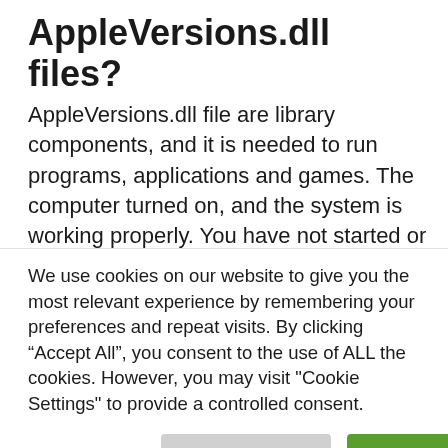AppleVersions.dll files?
AppleVersions.dll file are library components, and it is needed to run programs, applications and games. The computer turned on, and the system is working properly. You have not started or opened anything yet, and dozens of AppleVersions.dll files are already in use. Simple clocks, system configuration...
We use cookies on our website to give you the most relevant experience by remembering your preferences and repeat visits. By clicking “Accept All”, you consent to the use of ALL the cookies. However, you may visit "Cookie Settings" to provide a controlled consent.